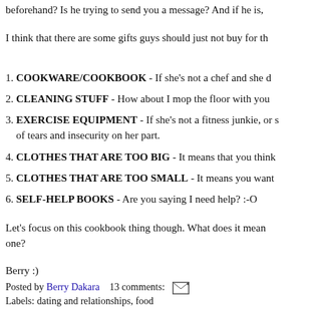beforehand? Is he trying to send you a message? And if he is,
I think that there are some gifts guys should just not buy for th
COOKWARE/COOKBOOK - If she's not a chef and she d
CLEANING STUFF - How about I mop the floor with you
EXERCISE EQUIPMENT - If she's not a fitness junkie, or s of tears and insecurity on her part.
CLOTHES THAT ARE TOO BIG - It means that you think
CLOTHES THAT ARE TOO SMALL - It means you want
SELF-HELP BOOKS - Are you saying I need help? :-O
Let's focus on this cookbook thing though. What does it mean one?
Berry :)
Posted by Berry Dakara    13 comments:
Labels: dating and relationships, food